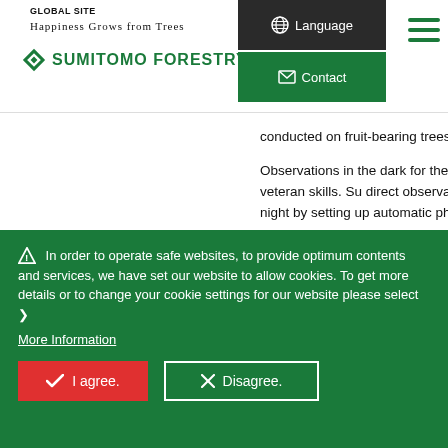GLOBAL SITE | Happiness Grows from Trees | SUMITOMO FORESTRY | Language | Contact
conducted on fruit-bearing trees, their s
Observations in the dark for the numero or late at night require veteran skills. Su direct observation of Proboscis monkey and night by setting up automatic photo equipped with heat sensors.
Camera traps set up in these protected from 38 different species (photographe 2019 to the beginning of February 2021
⚠ In order to operate safe websites, to provide optimum contents and services, we have set our website to allow cookies. To get more details or to change your cookie settings for our website please select ❯
More Information
✓ I agree.
✕ Disagree.